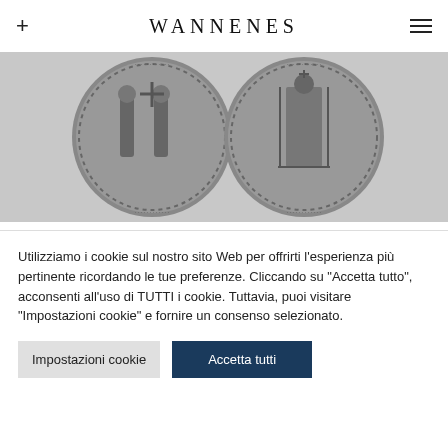WANNENES
[Figure (photo): Two sides of a medieval silver coin (Grosso) from Venice — left side shows Saint Mark and the Doge standing, right side shows Christ enthroned, both with inscriptions around the edge.]
1331
ZECCHE ITALIANE. VENEZIA. BARTOLOMEO GRADENIGO (1330–1342). GROSSO
Utilizziamo i cookie sul nostro sito Web per offrirti l'esperienza più pertinente ricordando le tue preferenze. Cliccando su "Accetta tutto", acconsenti all'uso di TUTTI i cookie. Tuttavia, puoi visitare "Impostazioni cookie" e fornire un consenso selezionato.
Impostazioni cookie | Accetta tutti